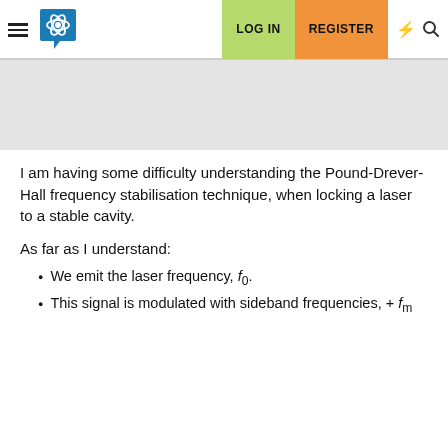LOG IN  REGISTER
I am having some difficulty understanding the Pound-Drever-Hall frequency stabilisation technique, when locking a laser to a stable cavity.
As far as I understand:
We emit the laser frequency, f_0.
This signal is modulated with sideband frequencies, + f_m.